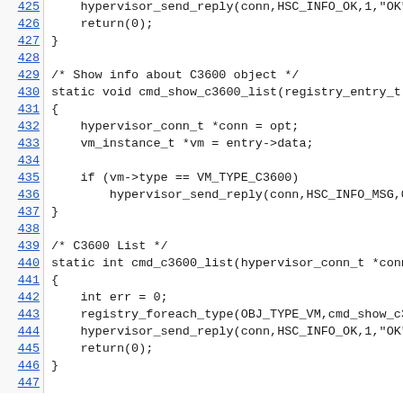Source code listing, lines 425-447, C code for hypervisor/C3600 routines
425: hypervisor_send_reply(conn,HSC_INFO_OK,1,"OK");
426:     return(0);
427: }
428:
429: /* Show info about C3600 object */
430: static void cmd_show_c3600_list(registry_entry_t *e
431: {
432:     hypervisor_conn_t *conn = opt;
433:     vm_instance_t *vm = entry->data;
434:
435:     if (vm->type == VM_TYPE_C3600)
436:         hypervisor_send_reply(conn,HSC_INFO_MSG,0,"%s
437: }
438:
439: /* C3600 List */
440: static int cmd_c3600_list(hypervisor_conn_t *conn,i
441: {
442:     int err = 0;
443:     registry_foreach_type(OBJ_TYPE_VM,cmd_show_c3600
444:     hypervisor_send_reply(conn,HSC_INFO_OK,1,"OK");
445:     return(0);
446: }
447: